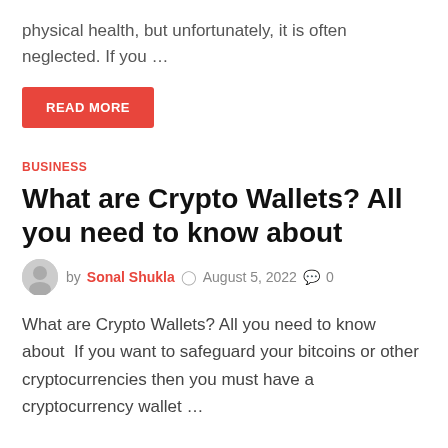physical health, but unfortunately, it is often neglected. If you …
READ MORE
BUSINESS
What are Crypto Wallets? All you need to know about
by Sonal Shukla  August 5, 2022  0
What are Crypto Wallets? All you need to know about  If you want to safeguard your bitcoins or other cryptocurrencies then you must have a cryptocurrency wallet …